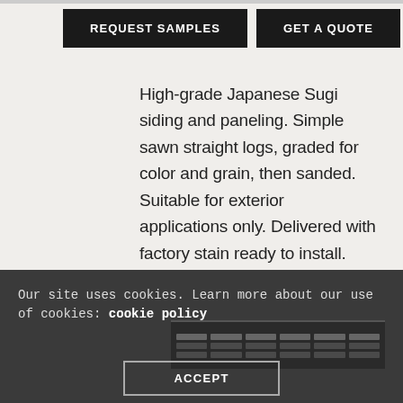REQUEST SAMPLES | GET A QUOTE
High-grade Japanese Sugi siding and paneling. Simple sawn straight logs, graded for color and grain, then sanded. Suitable for exterior applications only. Delivered with factory stain ready to install. Substitute on projects where North American Cedar or Cypress are specified.
Our site uses cookies. Learn more about our use of cookies: cookie policy